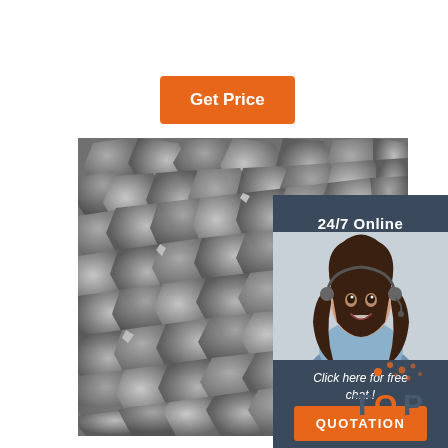Get Price
[Figure (photo): Scanning electron microscope image of abrasive/diamond grit particles — dense angular gray particles filling the frame]
24/7 Online
[Figure (photo): Customer service representative woman with headset smiling]
Click here for free chat !
QUOTATION
[Figure (logo): TOP logo with orange dot/particle graphic]